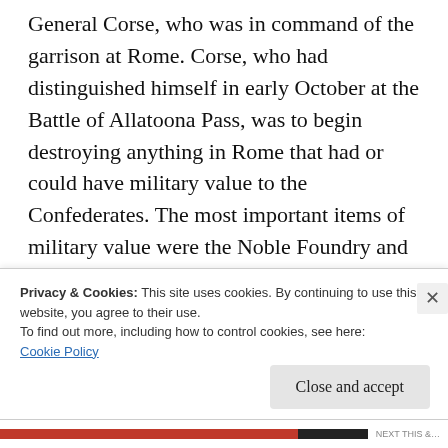General Corse, who was in command of the garrison at Rome.  Corse, who had distinguished himself in early October at the Battle of Allatoona Pass, was to begin destroying anything in Rome that had or could have military value to the Confederates.  The most important items of military value were the Noble Foundry and the Rail Road.  The Foundry was destroyed with explosive charges and the remainder of the majority of the city was put to the torch.  While many buildings
Privacy & Cookies: This site uses cookies. By continuing to use this website, you agree to their use.
To find out more, including how to control cookies, see here:
Cookie Policy
Close and accept